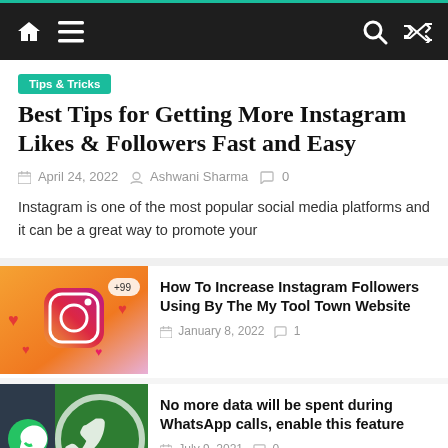Navigation bar with home, menu, search, and shuffle icons
Tips & Tricks
Best Tips for Getting More Instagram Likes & Followers Fast and Easy
April 24, 2022  Ashwani Sharma  0
Instagram is one of the most popular social media platforms and it can be a great way to promote your
[Figure (photo): Instagram logo with social media icons on orange background]
How To Increase Instagram Followers Using By The My Tool Town Website
January 8, 2022  1
[Figure (photo): WhatsApp logo on green and dark background with Translate button]
No more data will be spent during WhatsApp calls, enable this feature
July 9, 2021  0